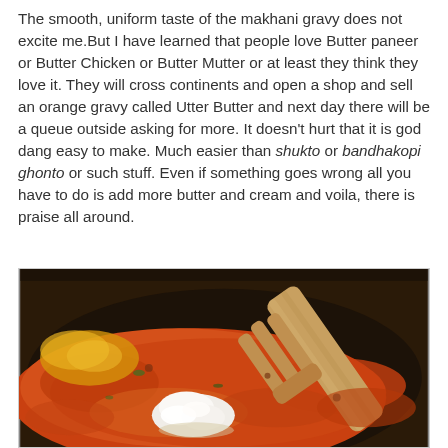The smooth, uniform taste of the makhani gravy does not excite me.But I have learned that people love Butter paneer or Butter Chicken or Butter Mutter or at least they think they love it. They will cross continents and open a shop and sell an orange gravy called Utter Butter and next day there will be a queue outside asking for more. It doesn't hurt that it is god dang easy to make. Much easier than shukto or bandhakopi ghonto or such stuff. Even if something goes wrong all you have to do is add more butter and cream and voila, there is praise all around.
[Figure (photo): A close-up photo of makhani gravy (orange-red tomato-based sauce) being cooked in a dark wok/pan, with a wooden spoon/spatula and a dollop of white cream or yogurt added to the sauce.]